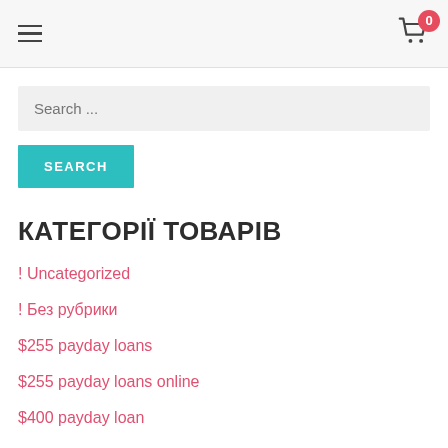Navigation header with hamburger menu and cart icon showing 0 items
Search ...
SEARCH
КАТЕГОРІЇ ТОВАРІВ
! Uncategorized
! Без рубрики
$255 payday loans
$255 payday loans online
$400 payday loan